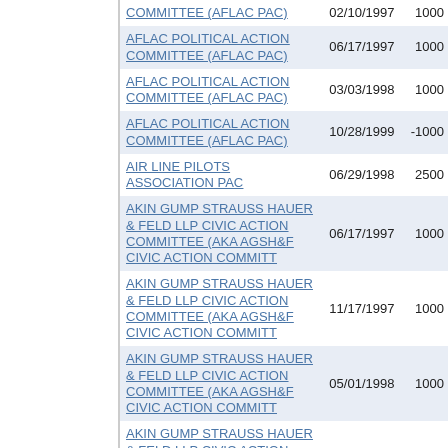| Name | Date | Amount |
| --- | --- | --- |
| COMMITTEE (AFLAC PAC) | 02/10/1997 | 1000 |
| AFLAC POLITICAL ACTION COMMITTEE (AFLAC PAC) | 06/17/1997 | 1000 |
| AFLAC POLITICAL ACTION COMMITTEE (AFLAC PAC) | 03/03/1998 | 1000 |
| AFLAC POLITICAL ACTION COMMITTEE (AFLAC PAC) | 10/28/1999 | -1000 |
| AIR LINE PILOTS ASSOCIATION PAC | 06/29/1998 | 2500 |
| AKIN GUMP STRAUSS HAUER & FELD LLP CIVIC ACTION COMMITTEE (AKA AGSH&F CIVIC ACTION COMMITT | 06/17/1997 | 1000 |
| AKIN GUMP STRAUSS HAUER & FELD LLP CIVIC ACTION COMMITTEE (AKA AGSH&F CIVIC ACTION COMMITT | 11/17/1997 | 1000 |
| AKIN GUMP STRAUSS HAUER & FELD LLP CIVIC ACTION COMMITTEE (AKA AGSH&F CIVIC ACTION COMMITT | 05/01/1998 | 1000 |
| AKIN GUMP STRAUSS HAUER & FELD LLP CIVIC ACTION COMMITTEE (AKA AGSH&F CIVIC ACTION COMMITT | 07/15/1998 | 1000 |
| AKIN GUMP STRAUSS HAUER & FELD LLP CIVIC ACTION COMMITTEE (AKA AGSH&F CIVIC ACTION COMMITT | 10/19/1998 | 1000 |